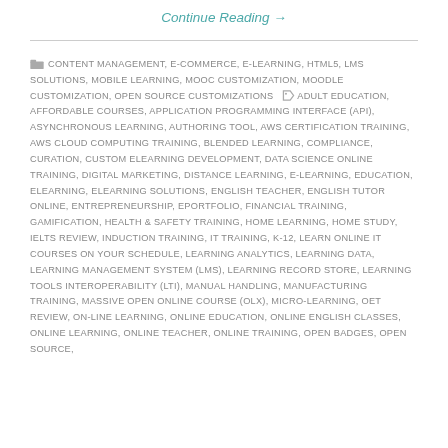Continue Reading →
CONTENT MANAGEMENT, E-COMMERCE, E-LEARNING, HTML5, LMS SOLUTIONS, MOBILE LEARNING, MOOC CUSTOMIZATION, MOODLE CUSTOMIZATION, OPEN SOURCE CUSTOMIZATIONS
ADULT EDUCATION, AFFORDABLE COURSES, APPLICATION PROGRAMMING INTERFACE (API), ASYNCHRONOUS LEARNING, AUTHORING TOOL, AWS CERTIFICATION TRAINING, AWS CLOUD COMPUTING TRAINING, BLENDED LEARNING, COMPLIANCE, CURATION, CUSTOM ELEARNING DEVELOPMENT, DATA SCIENCE ONLINE TRAINING, DIGITAL MARKETING, DISTANCE LEARNING, E-LEARNING, EDUCATION, ELEARNING, ELEARNING SOLUTIONS, ENGLISH TEACHER, ENGLISH TUTOR ONLINE, ENTREPRENEURSHIP, EPORTFOLIO, FINANCIAL TRAINING, GAMIFICATION, HEALTH & SAFETY TRAINING, HOME LEARNING, HOME STUDY, IELTS REVIEW, INDUCTION TRAINING, IT TRAINING, K-12, LEARN ONLINE IT COURSES ON YOUR SCHEDULE, LEARNING ANALYTICS, LEARNING DATA, LEARNING MANAGEMENT SYSTEM (LMS), LEARNING RECORD STORE, LEARNING TOOLS INTEROPERABILITY (LTI), MANUAL HANDLING, MANUFACTURING TRAINING, MASSIVE OPEN ONLINE COURSE (OLX), MICRO-LEARNING, OET REVIEW, ON-LINE LEARNING, ONLINE EDUCATION, ONLINE ENGLISH CLASSES, ONLINE LEARNING, ONLINE TEACHER, ONLINE TRAINING, OPEN BADGES, OPEN SOURCE